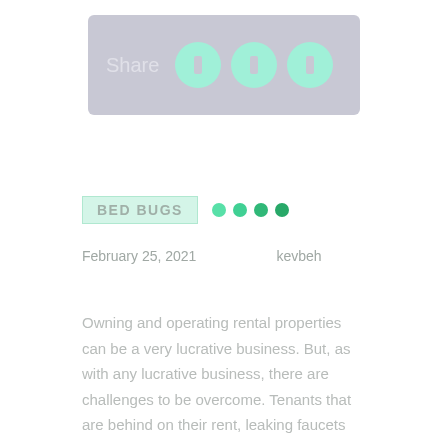[Figure (other): Share bar with label 'Share' and three mint-green circular social share buttons on a gray background]
BED BUGS
February 25, 2021   kevbeh
Owning and operating rental properties can be a very lucrative business. But, as with any lucrative business, there are challenges to be overcome. Tenants that are behind on their rent, leaking faucets